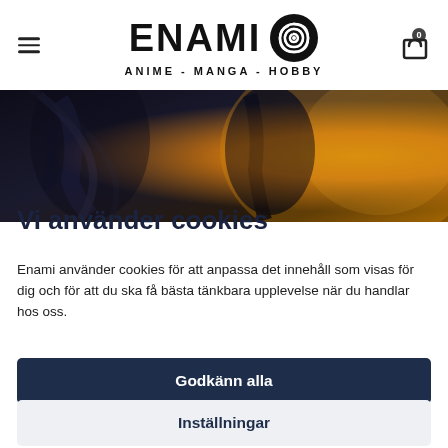[Figure (logo): Enami Anime Manga Hobby logo with spiral eye icon and hamburger menu and cart icon]
[Figure (photo): Dark hero banner image with anime character silhouette against orange/yellow glowing background]
Vi använder cookies
Enami använder cookies för att anpassa det innehåll som visas för dig och för att du ska få bästa tänkbara upplevelse när du handlar hos oss.
Godkänn alla
Inställningar